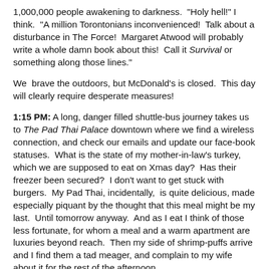1,000,000 people awakening to darkness.  "Holy hell!" I think.  "A million Torontonians inconvenienced!  Talk about a disturbance in The Force!  Margaret Atwood will probably write a whole damn book about this!  Call it Survival or something along those lines."
We  brave the outdoors, but McDonald's is closed.  This day will clearly require desperate measures!
1:15 PM: A long, danger filled shuttle-bus journey takes us to The Pad Thai Palace downtown where we find a wireless connection, and check our emails and update our face-book statuses.  What is the state of my mother-in-law's turkey, which we are supposed to eat on Xmas day?  Has their freezer been secured?  I don't want to get stuck with burgers.  My Pad Thai, incidentally,  is quite delicious, made especially piquant by the thought that this meal might be my last.  Until tomorrow anyway.  And as I eat I think of those less fortunate, for whom a meal and a warm apartment are luxuries beyond reach.  Then my side of shrimp-puffs arrive and I find them a tad meager, and complain to my wife about it for the rest of the afternoon.